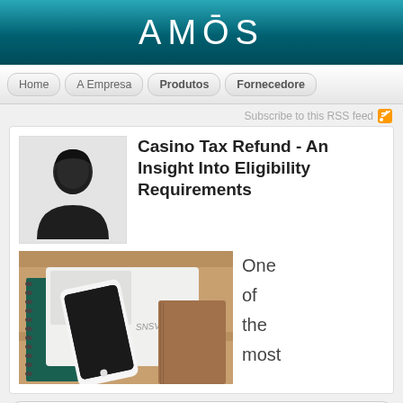AMŌS
Home  A Empresa  Produtos  Fornecedores
Subscribe to this RSS feed
Casino Tax Refund - An Insight Into Eligibility Requirements
[Figure (photo): Photo of a laptop, smartphone, spiral notebook, and brown notebook arranged on a wooden surface]
One of the most
Copyright © 2015 Innere. Todos os direitos reservados | Desenvolvido por Portal 37.